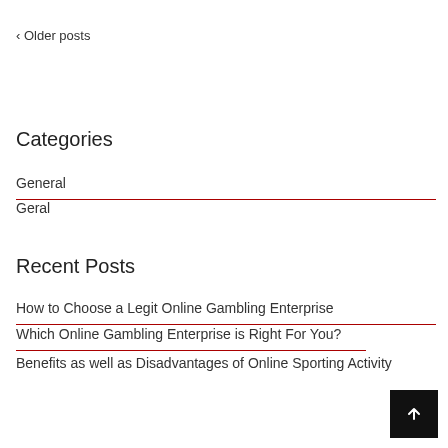‹ Older posts
Categories
General
Geral
Recent Posts
How to Choose a Legit Online Gambling Enterprise
Which Online Gambling Enterprise is Right For You?
Benefits as well as Disadvantages of Online Sporting Activity